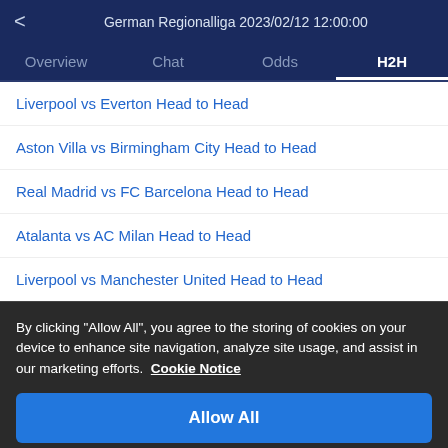< German Regionalliga 2023/02/12 12:00:00
Overview  Chat  Odds  H2H
Liverpool vs Everton Head to Head
Aston Villa vs Birmingham City Head to Head
Real Madrid vs FC Barcelona Head to Head
Atalanta vs AC Milan Head to Head
Liverpool vs Manchester United Head to Head
By clicking "Allow All", you agree to the storing of cookies on your device to enhance site navigation, analyze site usage, and assist in our marketing efforts. Cookie Notice
Allow All
Customize Settings